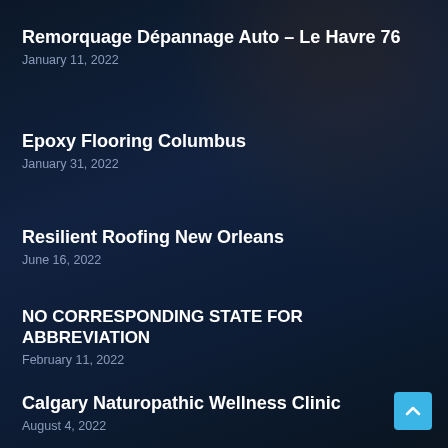Remorquage Dépannage Auto – Le Havre 76
January 11, 2022
Epoxy Flooring Columbus
January 31, 2022
Resilient Roofing New Orleans
June 16, 2022
NO CORRESPONDING STATE FOR ABBREVIATION
February 11, 2022
Calgary Naturopathic Wellness Clinic
August 4, 2022